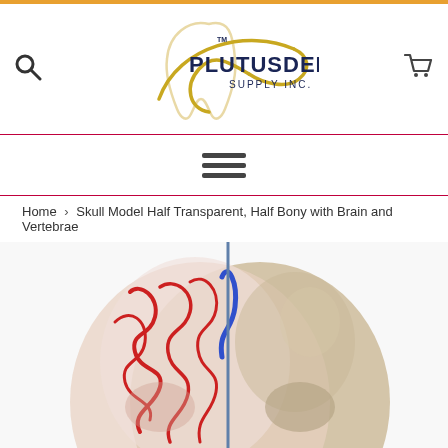[Figure (logo): Plutus Dental Supply Inc. logo with golden tooth shape and dark blue text]
[Figure (other): Hamburger menu icon with three horizontal lines]
Home › Skull Model Half Transparent, Half Bony with Brain and Vertebrae
[Figure (photo): Skull model showing half transparent (with red/blue brain vasculature) and half bony anatomy]